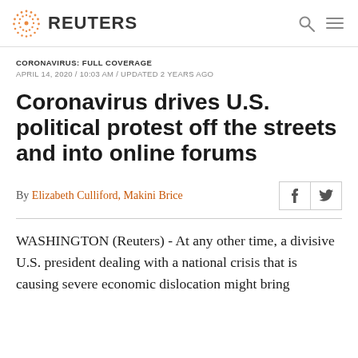REUTERS
CORONAVIRUS: FULL COVERAGE
APRIL 14, 2020 / 10:03 AM / UPDATED 2 YEARS AGO
Coronavirus drives U.S. political protest off the streets and into online forums
By Elizabeth Culliford, Makini Brice
WASHINGTON (Reuters) - At any other time, a divisive U.S. president dealing with a national crisis that is causing severe economic dislocation might bring